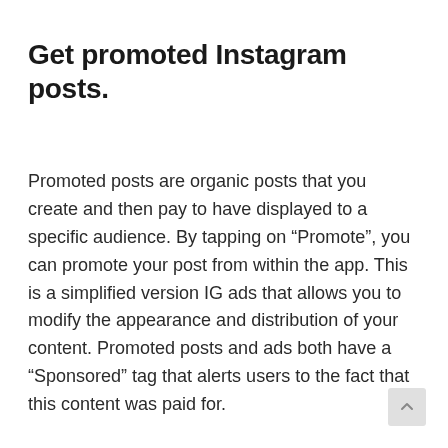Get promoted Instagram posts.
Promoted posts are organic posts that you create and then pay to have displayed to a specific audience. By tapping on “Promote”, you can promote your post from within the app. This is a simplified version IG ads that allows you to modify the appearance and distribution of your content. Promoted posts and ads both have a “Sponsored” tag that alerts users to the fact that this content was paid for.